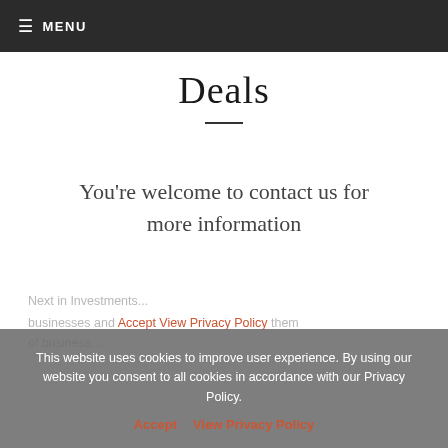≡ MENU
Deals
You're welcome to contact us for more information
Next in Investments... businesses and Accept View Privacy Policy
This website uses cookies to improve user experience. By using our website you consent to all cookies in accordance with our Privacy Policy.
Accept  View Privacy Policy